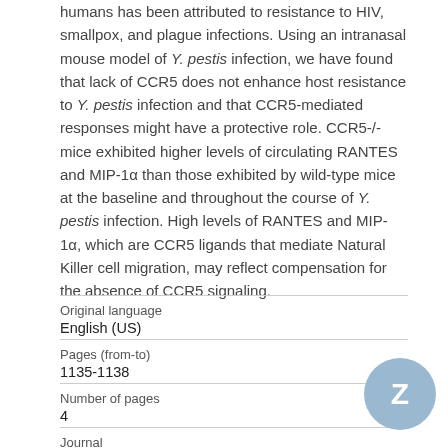humans has been attributed to resistance to HIV, smallpox, and plague infections. Using an intranasal mouse model of Y. pestis infection, we have found that lack of CCR5 does not enhance host resistance to Y. pestis infection and that CCR5-mediated responses might have a protective role. CCR5-/- mice exhibited higher levels of circulating RANTES and MIP-1α than those exhibited by wild-type mice at the baseline and throughout the course of Y. pestis infection. High levels of RANTES and MIP-1α, which are CCR5 ligands that mediate Natural Killer cell migration, may reflect compensation for the absence of CCR5 signaling.
| Field | Value |
| --- | --- |
| Original language | English (US) |
| Pages (from-to) | 1135-1138 |
| Number of pages | 4 |
| Journal | Microbes and Infection |
| Volume |  |